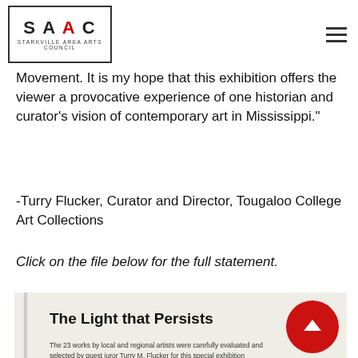SAAC - Starkville Area Arts Council (logo and navigation)
to the art-making process during a and the Black Lives Matter Movement. It is my hope that this exhibition offers the viewer a provocative experience of one historian and curator's vision of contemporary art in Mississippi."
-Turry Flucker, Curator and Director, Tougaloo College Art Collections
Click on the file below for the full statement.
[Figure (photo): Photo of an exhibition placard reading 'The Light that Persists' with descriptive text about 23 works by local and regional artists selected by guest juror Turry M. Flucker, sponsored by Starkville Area Arts Council with support from MSU Department of Art Galleries. A red circular back-to-top button overlays the upper right.]